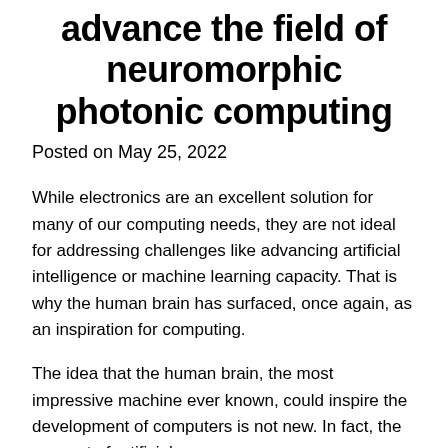advance the field of neuromorphic photonic computing
Posted on May 25, 2022
While electronics are an excellent solution for many of our computing needs, they are not ideal for addressing challenges like advancing artificial intelligence or machine learning capacity. That is why the human brain has surfaced, once again, as an inspiration for computing.
The idea that the human brain, the most impressive machine ever known, could inspire the development of computers is not new. In fact, the concept of artificial